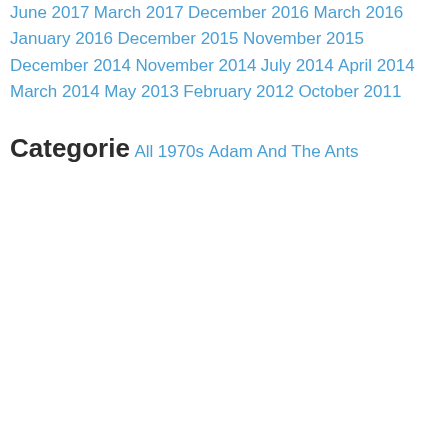June 2017
March 2017
December 2016
March 2016
January 2016
December 2015
November 2015
December 2014
November 2014
July 2014
April 2014
March 2014
May 2013
February 2012
October 2011
Categorie
All
1970s
Adam And The Ants